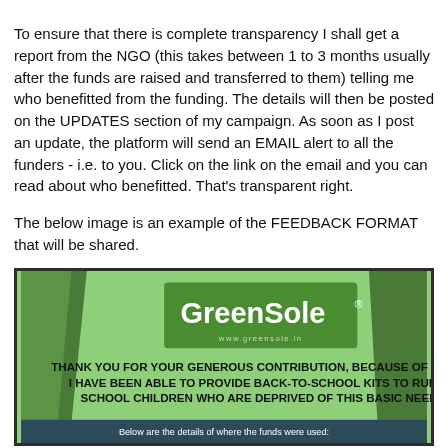To ensure that there is complete transparency I shall get a report from the NGO (this takes between 1 to 3 months usually after the funds are raised and transferred to them) telling me who benefitted from the funding. The details will then be posted on the UPDATES section of my campaign. As soon as I post an update, the platform will send an EMAIL alert to all the funders - i.e. to you. Click on the link on the email and you can read about who benefitted. That's transparent right.
The below image is an example of the FEEDBACK FORMAT that will be shared.
[Figure (infographic): GreenSole NGO feedback format image. Light green background with dark green corner decorations. GreenSole logo on green rectangle with www.greensole.in. Bold text: THANK YOU FOR YOUR GENEROUS CONTRIBUTION, BECAUSE OF WHICH I HAVE BEEN ABLE TO PROVIDE BACK-TO-SCHOOL KITS TO RURAL SCHOOL CHILDREN WHO ARE DEPRIVED OF THIS BASIC NEED. Dark teal banner at bottom: Below are the details of where the funds were used:]